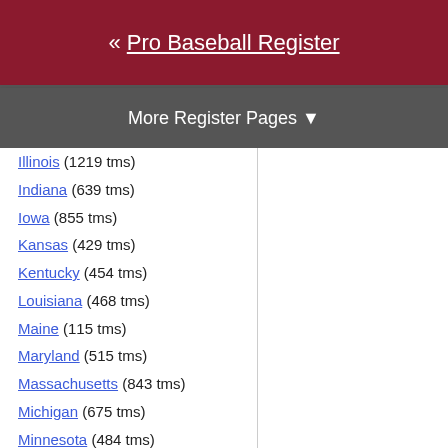« Pro Baseball Register
More Register Pages ▼
Illinois (1219 tms)
Indiana (639 tms)
Iowa (855 tms)
Kansas (429 tms)
Kentucky (454 tms)
Louisiana (468 tms)
Maine (115 tms)
Maryland (515 tms)
Massachusetts (843 tms)
Michigan (675 tms)
Minnesota (484 tms)
Mississippi (274 tms)
Missouri (653 tms)
Montana (273 tms)
Nebraska (366 tms)
Nevada (111 tms)